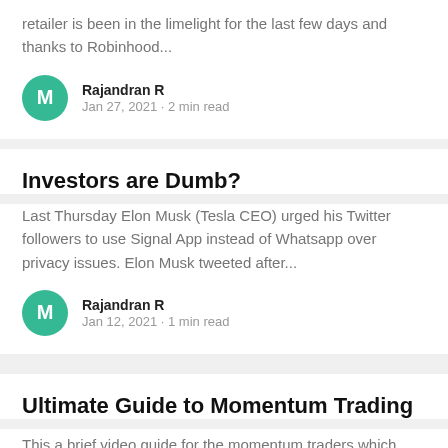retailer is been in the limelight for the last few days and thanks to Robinhood...
Rajandran R
Jan 27, 2021 · 2 min read
Investors are Dumb?
Last Thursday Elon Musk (Tesla CEO) urged his Twitter followers to use Signal App instead of Whatsapp over privacy issues. Elon Musk tweeted after...
Rajandran R
Jan 12, 2021 · 1 min read
Ultimate Guide to Momentum Trading
This a brief video guide for the momentum traders which